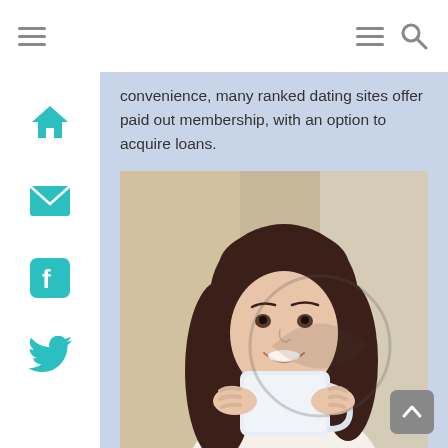Navigation bar with hamburger menus and search icon
convenience, many ranked dating sites offer paid out membership, with an option to acquire loans.
[Figure (photo): Young woman with long brown hair smiling and holding a white mug/cup, photographed indoors with a warm blurred background]